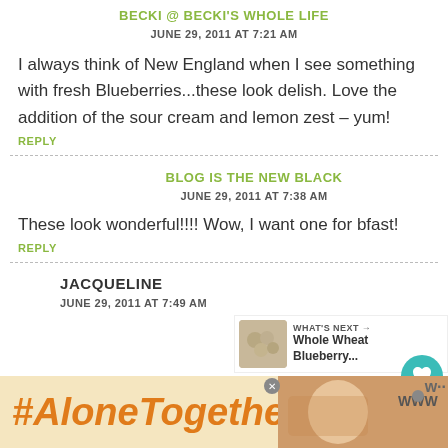BECKI @ BECKI'S WHOLE LIFE
JUNE 29, 2011 AT 7:21 AM
I always think of New England when I see something with fresh Blueberries...these look delish. Love the addition of the sour cream and lemon zest – yum!
REPLY
BLOG IS THE NEW BLACK
JUNE 29, 2011 AT 7:38 AM
These look wonderful!!!! Wow, I want one for bfast!
REPLY
JACQUELINE
JUNE 29, 2011 AT 7:49 AM
[Figure (infographic): Ad banner with text #AloneTogether in orange italic on tan background, with photo of woman cooking on right side and close button]
[Figure (infographic): What's Next callout with thumbnail of baked goods and text 'Whole Wheat Blueberry...']
[Figure (infographic): Floating action buttons: teal heart icon with count 2, and share icon]